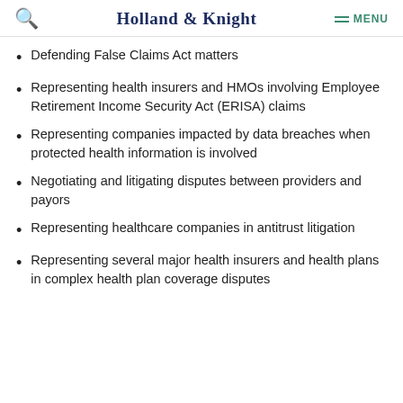Holland & Knight   MENU
Defending False Claims Act matters
Representing health insurers and HMOs involving Employee Retirement Income Security Act (ERISA) claims
Representing companies impacted by data breaches when protected health information is involved
Negotiating and litigating disputes between providers and payors
Representing healthcare companies in antitrust litigation
Representing several major health insurers and health plans in complex health plan coverage disputes